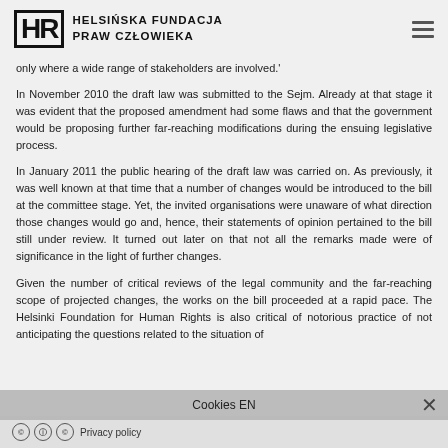HELSIŃSKA FUNDACJA PRAW CZŁOWIEKA
only where a wide range of stakeholders are involved.'
In November 2010 the draft law was submitted to the Sejm. Already at that stage it was evident that the proposed amendment had some flaws and that the government would be proposing further far-reaching modifications during the ensuing legislative process.
In January 2011 the public hearing of the draft law was carried on. As previously, it was well known at that time that a number of changes would be introduced to the bill at the committee stage. Yet, the invited organisations were unaware of what direction those changes would go and, hence, their statements of opinion pertained to the bill still under review. It turned out later on that not all the remarks made were of significance in the light of further changes.
Given the number of critical reviews of the legal community and the far-reaching scope of projected changes, the works on the bill proceeded at a rapid pace. The Helsinki Foundation for Human Rights is also critical of notorious practice of not anticipating the questions related to the situation of
Cookies EN
Privacy policy